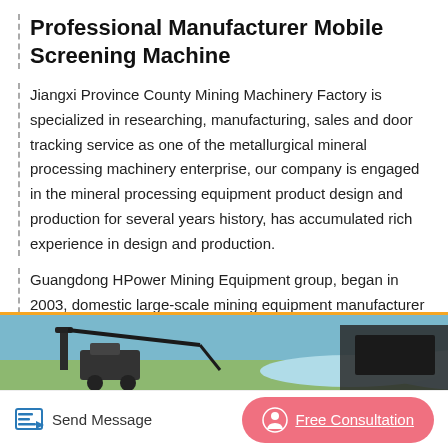Professional Manufacturer Mobile Screening Machine
Jiangxi Province County Mining Machinery Factory is specialized in researching, manufacturing, sales and door tracking service as one of the metallurgical mineral processing machinery enterprise, our company is engaged in the mineral processing equipment product design and production for several years history, has accumulated rich experience in design and production.
Guangdong HPower Mining Equipment group, began in 2003, domestic large-scale mining equipment manufacturer【Mobile crusher,feeding, crushing, vibrate screening, sand making, sand washing, waste-water treatment and full set of sand mining equipment solutions manufacturer.
[Figure (photo): Partial view of mining/screening equipment in outdoor setting with blue sky and terrain]
Send Message   Free Consultation